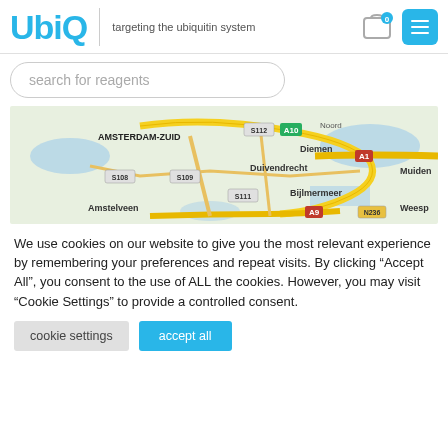UbiQ
targeting the ubiquitin system
[Figure (screenshot): Search bar with placeholder text 'search for reagents']
[Figure (map): Google Maps view showing Amsterdam-Zuid area including Diemen, Duivendrecht, Bijlmermeer, Amstelveen, Muiden, Weesp with road labels A10, A1, A9, N236, S108, S109, S111, S112]
We use cookies on our website to give you the most relevant experience by remembering your preferences and repeat visits. By clicking "Accept All", you consent to the use of ALL the cookies. However, you may visit "Cookie Settings" to provide a controlled consent.
cookie settings
accept all